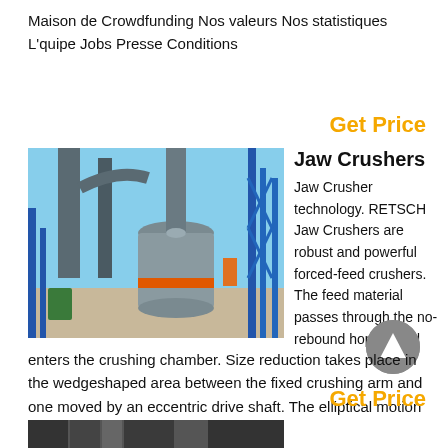Maison de Crowdfunding Nos valeurs Nos statistiques L'quipe Jobs Presse Conditions
Get Price
[Figure (photo): Industrial machinery with large pipes, a cylindrical grinding/crushing unit painted grey with an orange ring, blue steel framework structures, photographed outdoors.]
Jaw Crushers
Jaw Crusher technology. RETSCH Jaw Crushers are robust and powerful forced-feed crushers. The feed material passes through the no-rebound hopper and enters the crushing chamber. Size reduction takes place in the wedgeshaped area between the fixed crushing arm and one moved by an eccentric drive shaft. The elliptical motion crushes the sample
Get Price
[Figure (photo): Bottom portion of a second image, partially visible, appears to show industrial equipment in dark tones.]